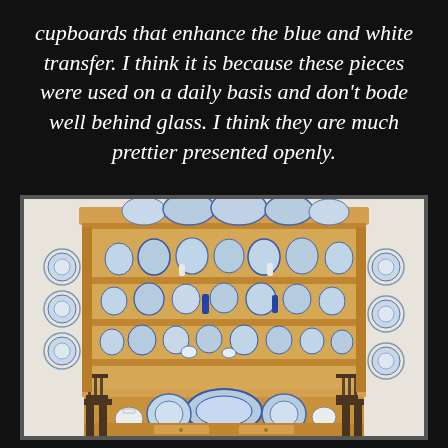cupboards that enhance the blue and white transfer. I think it is because these pieces were used on a daily basis and don't bode well behind glass. I think they are much prettier presented openly.
[Figure (photo): A large pine wood dresser/hutch with open shelves displaying an extensive collection of blue and white transfer ware plates, platters, bowls, and pottery. Blue and white plates are also hung on the wall on either side of the dresser. Two wooden chairs are visible on either side of the base of the dresser.]